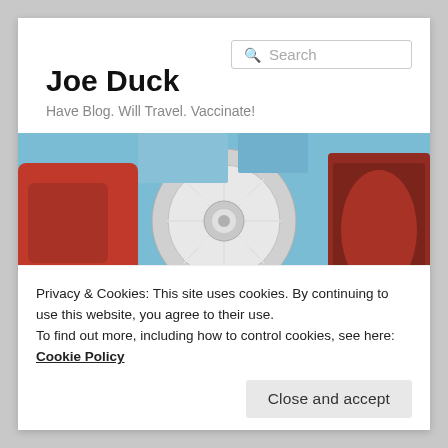Joe Duck
Have Blog. Will Travel. Vaccinate!
[Figure (photo): Close-up photo of a chrome and red vintage car wheel/steering component]
Privacy & Cookies: This site uses cookies. By continuing to use this website, you agree to their use.
To find out more, including how to control cookies, see here: Cookie Policy
Close and accept